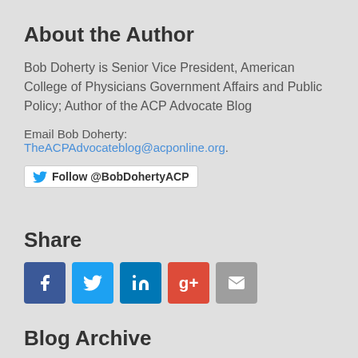About the Author
Bob Doherty is Senior Vice President, American College of Physicians Government Affairs and Public Policy; Author of the ACP Advocate Blog
Email Bob Doherty: TheACPAdvocateblog@acponline.org.
[Figure (other): Twitter follow button: Follow @BobDohertyACP]
Share
[Figure (infographic): Social sharing icons: Facebook, Twitter, LinkedIn, Google+, Email]
Blog Archive
► 2020 ( 3 )
► 2019 ( 4 )